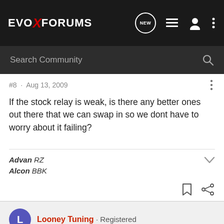[Figure (screenshot): EvoXForums navigation bar with logo, NEW button, list icon, user icon, and three-dot menu]
[Figure (screenshot): Dark search bar with 'Search Community' placeholder text and magnifying glass icon]
#8 · Aug 13, 2009
If the stock relay is weak, is there any better ones out there that we can swap in so we dont have to worry about it failing?
Advan RZ
Alcon BBK
Looney Tuning · Registered